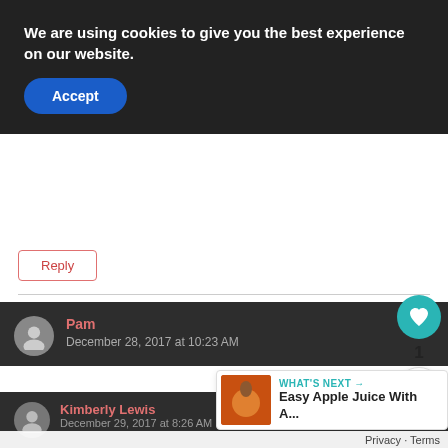We are using cookies to give you the best experience on our website.
Accept
Reply
Pam
December 28, 2017 at 10:23 AM
What is a New York Roast? Sorry you have to be more spe... Is it a rib roast?
1
Reply
Kimberly Lewis
December 29, 2017 at 8:26 AM
WHAT'S NEXT → Easy Apple Juice With A...